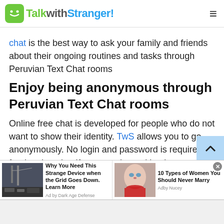TalkwithStranger!
chat is the best way to ask your family and friends about their ongoing routines and tasks through Peruvian Text Chat rooms
Enjoy being anonymous through Peruvian Text Chat rooms
Online free chat is developed for people who do not want to show their identity. TwS allows you to go anonymously. No login and password is required for the chat site. If you are shy and hesitant to talk with a stranger the best way is to talk with online Peruvian Text Chat rooms. As we all
[Figure (other): Advertisement bar with two ads: 'Why You Need This Strange Device when the Grid Goes Down. Learn More' by Dark Age Defense, and '10 Types of Women You Should Never Marry' by Adby Nucey]